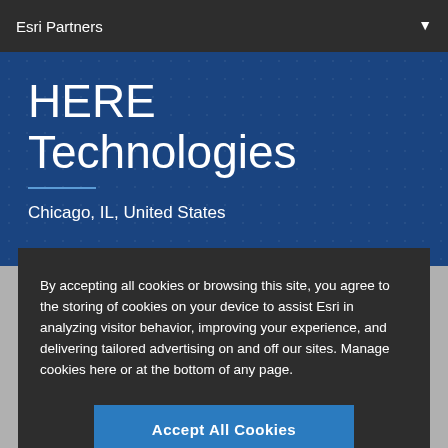Esri Partners
HERE Technologies
Chicago, IL, United States
By accepting all cookies or browsing this site, you agree to the storing of cookies on your device to assist Esri in analyzing visitor behavior, improving your experience, and delivering tailored advertising on and off our sites. Manage cookies here or at the bottom of any page.
Accept All Cookies
Cookies Settings